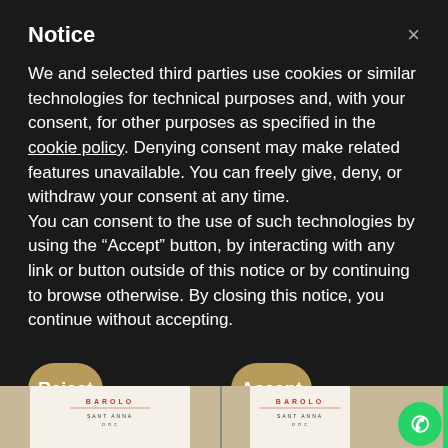Notice
We and selected third parties use cookies or similar technologies for technical purposes and, with your consent, for other purposes as specified in the cookie policy. Denying consent may make related features unavailable. You can freely give, deny, or withdraw your consent at any time.
You can consent to the use of such technologies by using the “Accept” button, by interacting with any link or button outside of this notice or by continuing to browse otherwise. By closing this notice, you continue without accepting.
Reject
Accept
Learn more and customise
[Figure (photo): Bottom section showing wine bottle labels (BAROLO, SANT ANNA) against a light background, with a WhatsApp button in the bottom right corner.]